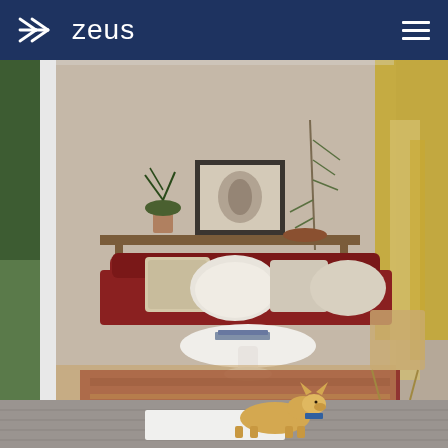zeus
[Figure (photo): Interior living room scene viewed through sliding glass doors. A red mid-century sofa with knit and fluffy pillows sits against a beige wall with framed artwork and a potted plant on a wooden console table. A white tulip-style coffee table is in front of the sofa. A red patterned rug is on the floor. A tan wicker chair is partially visible on the right. A golden draped curtain hangs on the upper right. A small dog (corgi) with a blue bandana lies on a white mat on a wooden deck in the foreground, outside the glass doors. Greenery and trees are visible on the left and right sides.]